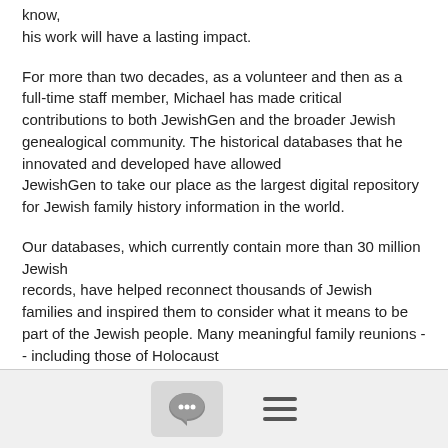know,
his work will have a lasting impact.
For more than two decades, as a volunteer and then as a full-time staff member, Michael has made critical contributions to both JewishGen and the broader Jewish genealogical community. The historical databases that he innovated and developed have allowed
JewishGen to take our place as the largest digital repository for Jewish family history information in the world.
Our databases, which currently contain more than 30 million Jewish
records, have helped reconnect thousands of Jewish families and inspired them to consider what it means to be part of the Jewish people. Many meaningful family reunions -- including those of Holocaust
survivors and their families -- have resulted >from Michael's passion
[Figure (other): Footer bar with a chat bubble icon in a grey rounded rectangle box and a hamburger menu icon (three horizontal lines)]